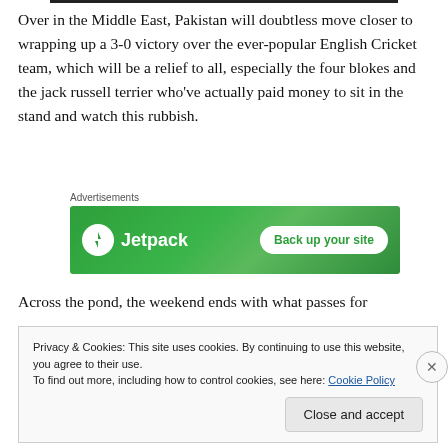Over in the Middle East, Pakistan will doubtless move closer to wrapping up a 3-0 victory over the ever-popular English Cricket team, which will be a relief to all, especially the four blokes and the jack russell terrier who've actually paid money to sit in the stand and watch this rubbish.
[Figure (other): Jetpack advertisement banner with green background. Shows Jetpack logo (lightning bolt icon in white circle) and text 'Jetpack' in white, with a white button 'Back up your site' in green text.]
Across the pond, the weekend ends with what passes for
Privacy & Cookies: This site uses cookies. By continuing to use this website, you agree to their use.
To find out more, including how to control cookies, see here: Cookie Policy